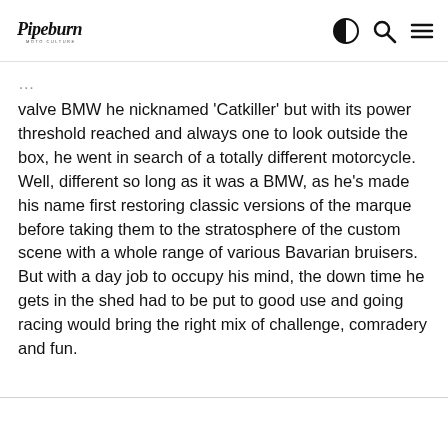Pipeburn
valve BMW he nicknamed ‘Catkiller’ but with its power threshold reached and always one to look outside the box, he went in search of a totally different motorcycle. Well, different so long as it was a BMW, as he’s made his name first restoring classic versions of the marque before taking them to the stratosphere of the custom scene with a whole range of various Bavarian bruisers. But with a day job to occupy his mind, the down time he gets in the shed had to be put to good use and going racing would bring the right mix of challenge, comradery and fun.